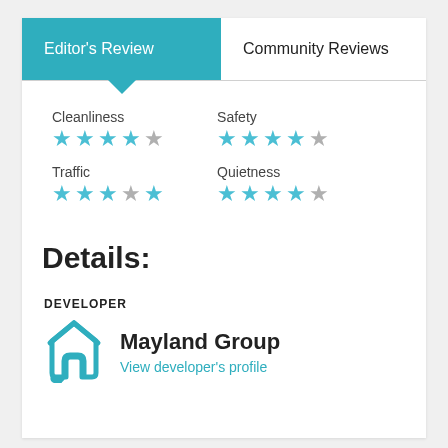Editor's Review
Community Reviews
Cleanliness ★★★★☆
Safety ★★★★☆
Traffic ★★★☆☆
Quietness ★★★★☆
Details:
DEVELOPER
Mayland Group
View developer's profile